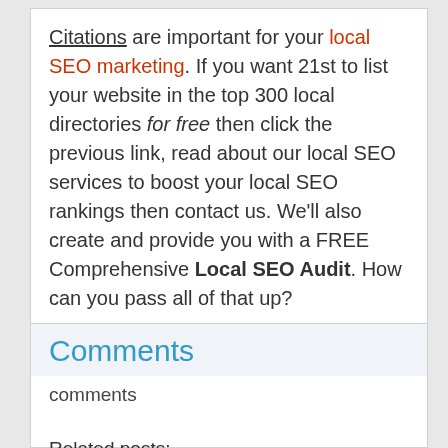Citations are important for your local SEO marketing. If you want 21st to list your website in the top 300 local directories for free then click the previous link, read about our local SEO services to boost your local SEO rankings then contact us. We'll also create and provide you with a FREE Comprehensive Local SEO Audit. How can you pass all of that up?
Comments
comments
Related posts:
Best Local SEO Marketing Citation Sources By